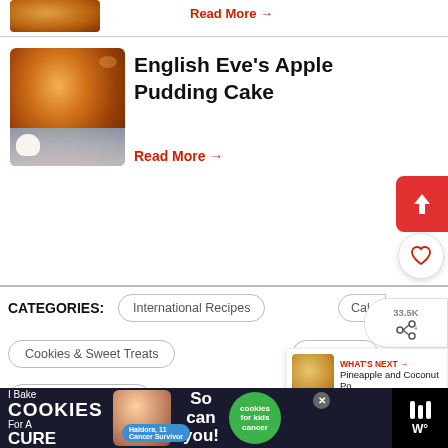[Figure (photo): Partial image of a baked good at the top of the page]
Read More →
[Figure (photo): English Eve's Apple Pudding Cake on a blue and white plate with cream]
English Eve's Apple Pudding Cake
Read More →
CATEGORIES:
International Recipes
Cak…
Cookies & Sweet Treats
Desserts
Tapas / Party Food
WHAT'S NEXT → Pineapple and Coconut Po...
[Figure (photo): I Bake Cookies For A Cure advertisement banner with Haldora, 11 Cancer Survivor]